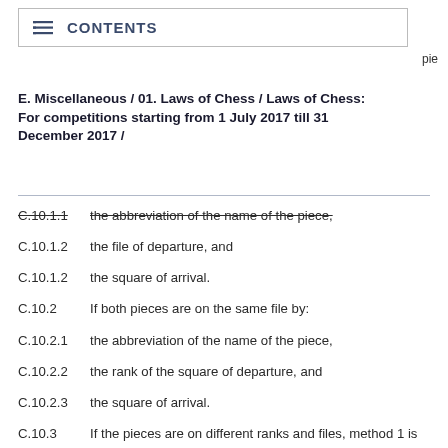CONTENTS
E. Miscellaneous / 01. Laws of Chess / Laws of Chess: For competitions starting from 1 July 2017 till 31 December 2017 /
C.10.1.1   the abbreviation of the name of the piece,
C.10.1.2   the file of departure, and
C.10.1.2   the square of arrival.
C.10.2       If both pieces are on the same file by:
C.10.2.1   the abbreviation of the name of the piece,
C.10.2.2   the rank of the square of departure, and
C.10.2.3   the square of arrival.
C.10.3      If the pieces are on different ranks and files, method 1 is